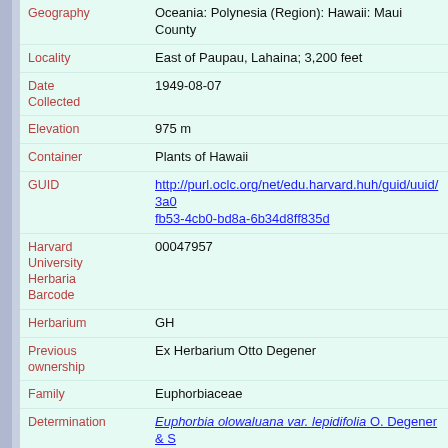| Field | Value |
| --- | --- |
| Geography | Oceania: Polynesia (Region): Hawaii: Maui County |
| Locality | East of Paupau, Lahaina; 3,200 feet |
| Date Collected | 1949-08-07 |
| Elevation | 975 m |
| Container | Plants of Hawaii |
| GUID | http://purl.oclc.org/net/edu.harvard.huh/guid/uuid/3a0...fb53-4cb0-bd8a-6b34d8ff835d |
| Harvard University Herbaria Barcode | 00047957 |
| Herbarium | GH |
| Previous ownership | Ex Herbarium Otto Degener |
| Family | Euphorbiaceae |
| Determination | Euphorbia olowaluana var. lepidifolia O. Degener & S... |
| Determination Remarks | [is label name] [is Current name] |
| Annotation Text | Chamaesyce;Isotype! |
| Family | Euphorbiaceae |